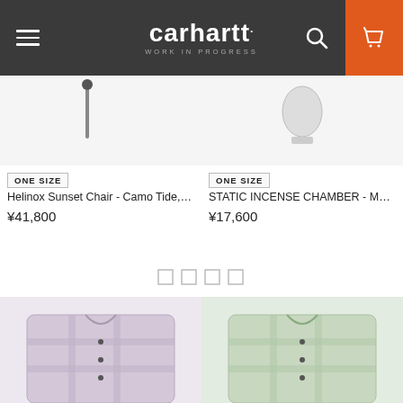carhartt WORK IN PROGRESS
[Figure (photo): Helinox Sunset Chair product image, partially visible at top, dark item on light background]
ONE SIZE
Helinox Sunset Chair - Camo Tide, Th...
¥41,800
[Figure (photo): STATIC INCENSE CHAMBER product image, partially visible at top]
ONE SIZE
STATIC INCENSE CHAMBER - Multicolor
¥17,600
[Figure (other): Pagination indicator showing four square boxes]
[Figure (photo): Purple/lavender plaid flannel shirt product photo, partial view]
[Figure (photo): Green plaid flannel shirt product photo, partial view]